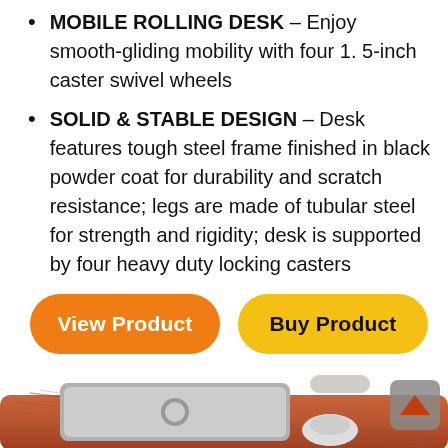MOBILE ROLLING DESK – Enjoy smooth-gliding mobility with four 1. 5-inch caster swivel wheels
SOLID & STABLE DESIGN – Desk features tough steel frame finished in black powder coat for durability and scratch resistance; legs are made of tubular steel for strength and rigidity; desk is supported by four heavy duty locking casters
[Figure (other): Two pill-shaped buttons: orange 'View Product' button on left, yellow 'Buy Product' button on right]
[Figure (photo): Photo of a wooden laptop lap desk tray with a MacBook laptop and mouse on it, with a small brand logo in the corner]